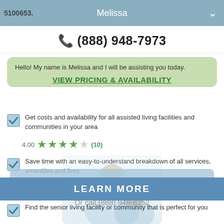5100653.   Melissa
(888) 948-7973
Hello! My name is Melissa and I will be assisting you today.
VIEW PRICING & AVAILABILITY
Get costs and availability for all assisted living facilities and communities in your area
[Figure (other): 4.00 star rating with 4 green stars and 1 gray star, (10) reviews]
Save time with an easy-to-understand breakdown of all services, amenities and fees
LEARN MORE
Find the senior living facility or community that is perfect for you
Yes, I want to see pricing!
Or call (888) 948-8352